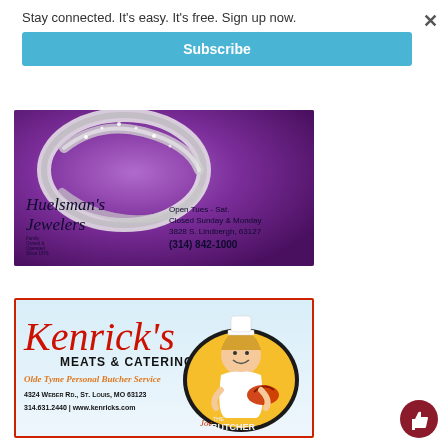Stay connected. It's easy. It's free. Sign up now.
Subscribe
[Figure (photo): Advertisement for Huelsman's Jewelers showing a diamond ring on purple background. Text: Open Tues - Sat. Closed Sunday & Monday. 3828 S. Lindbergh, 63127. (314) 842-1000. Family Owned & Operated Since 1976.]
[Figure (photo): Advertisement for Kenrick's Meats & Catering with Joe the Butcher cartoon mascot. Olde Tyme Personal Butcher Service. 4324 Weber Rd., St. Louis, MO 63123. 314.631.2440 | www.kenricks.com]